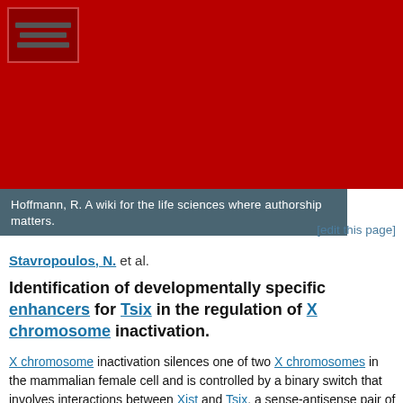[Figure (logo): Red header banner with a small icon box in the top-left corner showing horizontal lines, representing a wiki/journal logo area]
Hoffmann, R. A wiki for the life sciences where authorship matters.
[edit this page]
Stavropoulos, N. et al.
Identification of developmentally specific enhancers for Tsix in the regulation of X chromosome inactivation.
X chromosome inactivation silences one of two X chromosomes in the mammalian female cell and is controlled by a binary switch that involves interactions between Xist and Tsix, a sense-antisense pair of noncoding genes. On the future active X chromosome, Tsix expression suppresses Xist upregulation, while on the future inactive X chromosome, Tsix repression is required for Xist-mediated chromosome silencing. Thus, understanding the binary switch